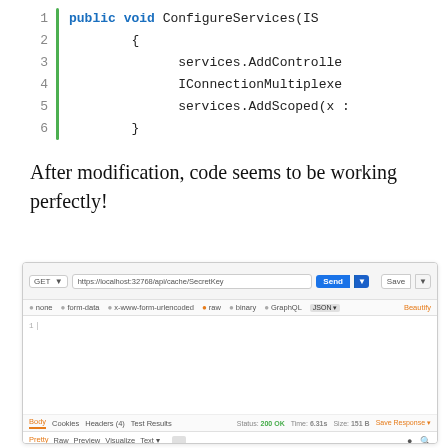[Figure (screenshot): Code snippet showing C# ConfigureServices method with line numbers 1-6 and a green gutter bar. Lines show: public void ConfigureServices(ISe... { services.AddControlle... IConnectionMultiplexe... services.AddScoped(x :... }]
After modification, code seems to be working perfectly!
[Figure (screenshot): Postman HTTP client screenshot showing a GET request to https://localhost:32768/api/cache/SecretKey with Send and Save buttons, body tab showing none/form-data/x-www-form-urlencoded/raw (selected, orange)/binary/GraphQL options with JSON badge, empty editor area, bottom tabs showing Body/Cookies/Headers(4)/Test Results with Status 200 OK, Time 6.31s, Size 151B, and Save Response link, and Pretty/Raw/Preview/Visualize/Text tabs at the bottom.]